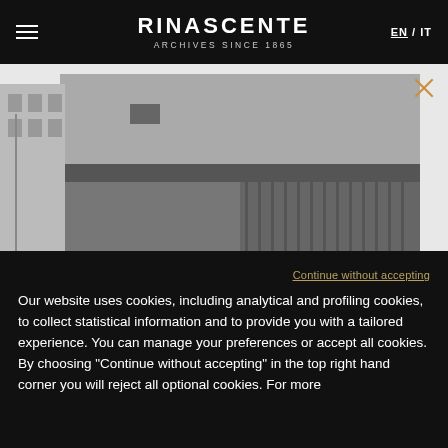RINASCENTE
ARCHIVES SINCE 1865
EN / IT
[Figure (photo): Black and white photograph of a building exterior street view, showing a large stone or concrete facade with a sidewalk in the foreground]
Continue without accepting
Our website uses cookies, including analytical and profiling cookies, to collect statistical information and to provide you with a tailored experience. You can manage your preferences or accept all cookies. By choosing "Continue without accepting" in the top right hand corner you will reject all optional cookies. For more